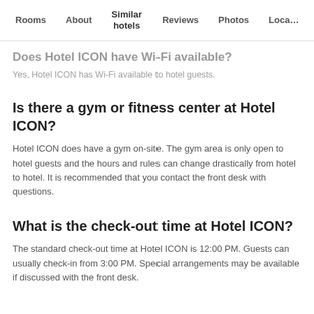Rooms | About | Similar hotels | Reviews | Photos | Loca…
Does Hotel ICON have Wi-Fi available?
Yes, Hotel ICON has Wi-Fi available to hotel guests.
Is there a gym or fitness center at Hotel ICON?
Hotel ICON does have a gym on-site. The gym area is only open to hotel guests and the hours and rules can change drastically from hotel to hotel. It is recommended that you contact the front desk with questions.
What is the check-out time at Hotel ICON?
The standard check-out time at Hotel ICON is 12:00 PM. Guests can usually check-in from 3:00 PM. Special arrangements may be available if discussed with the front desk.